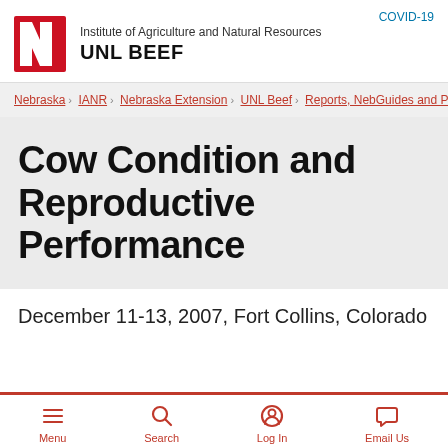COVID-19 | Institute of Agriculture and Natural Resources UNL BEEF
Nebraska › IANR › Nebraska Extension › UNL Beef › Reports, NebGuides and P
Cow Condition and Reproductive Performance
December 11-13, 2007, Fort Collins, Colorado
Menu | Search | Log In | Email Us